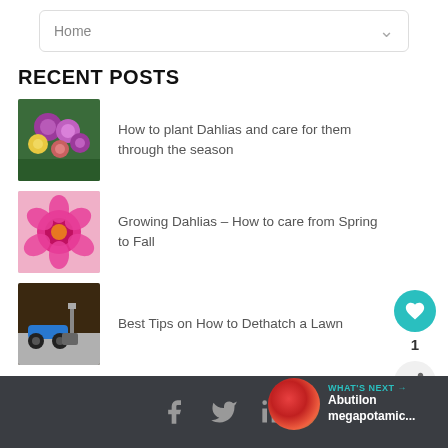Home
RECENT POSTS
[Figure (photo): Colorful dahlia flowers garden]
How to plant Dahlias and care for them through the season
[Figure (photo): Pink dahlia flower close-up]
Growing Dahlias – How to care from Spring to Fall
[Figure (photo): Lawn mower and dethatching tools on grass]
Best Tips on How to Dethatch a Lawn
Facebook Twitter LinkedIn | WHAT'S NEXT → Abutilon megapotamic...